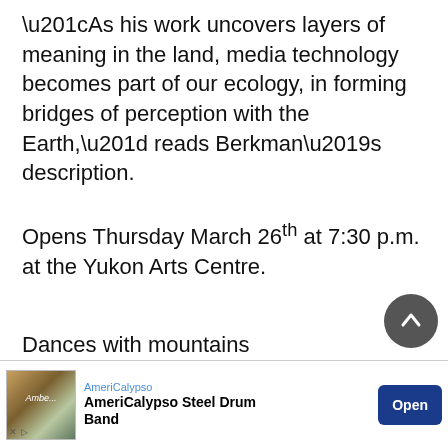“As his work uncovers layers of meaning in the land, media technology becomes part of our ecology, in forming bridges of perception with the Earth,” reads Berkman’s description.
Opens Thursday March 26th at 7:30 p.m. at the Yukon Arts Centre.
Dances with mountains
Natural vistas are to the Yukon visual artist what a drunk Prince Harry is to British paparazzi.
Watercolourist Stephanie Ryan takes the oft-painted landscapes of the Canadian North and imbues them with unique, dreamlike appeal through vivid paint-by-number
[Figure (other): Advertisement banner for AmeriCalypso Steel Drum Band with an Open button]